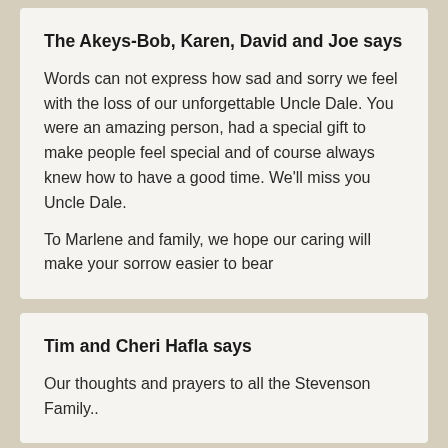The Akeys-Bob, Karen, David and Joe says
Words can not express how sad and sorry we feel with the loss of our unforgettable Uncle Dale. You were an amazing person, had a special gift to make people feel special and of course always knew how to have a good time. We'll miss you Uncle Dale.
To Marlene and family, we hope our caring will make your sorrow easier to bear
Tim and Cheri Hafla says
Our thoughts and prayers to all the Stevenson Family..